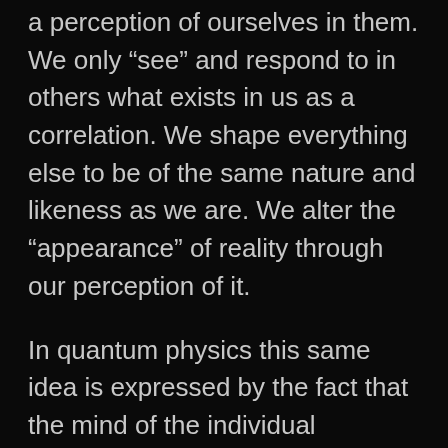a perception of ourselves in them. We only “see” and respond to in others what exists in us as a correlation. We shape everything else to be of the same nature and likeness as we are. We alter the “appearance” of reality through our perception of it.
In quantum physics this same idea is expressed by the fact that the mind of the individual influences how reality “appears” to them, and that the experimenter influences the outcome of the experiment, because the outcome is being “produced” by the mind perceiving it. This principle is also realized through the fact that light (the stuff of matter) exists simultaneously as both a particle (personal existence) and a wave (universal existence), and “pops in and out of existence”; and the Principle of Entanglement, which basically states that any particles that are “born together” (one